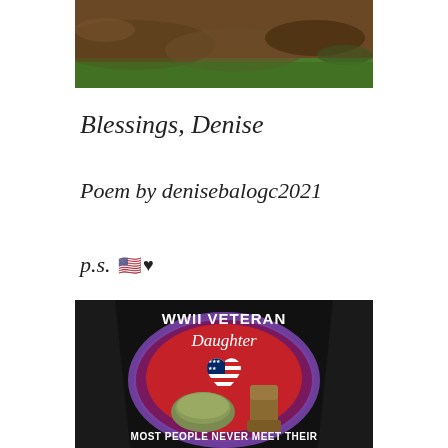[Figure (photo): Top portion of a photo showing dirt/soil ground with some green grass at the bottom edge]
Blessings, Denise
Poem by denisebalogc2021
p.s. 🇺🇸♥
[Figure (photo): Photo of a black t-shirt with 'WWII VETERAN Daughter' printed on it, showing a design with a heart featuring the American flag pattern, a military helmet, combat boots on a red/purple background. Text at the bottom reads 'MOST PEOPLE NEVER MEET THEIR']